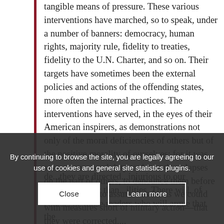tangible means of pressure. These various interventions have marched, so to speak, under a number of banners: democracy, human rights, majority rule, fidelity to treaties, fidelity to the U.N. Charter, and so on. Their targets have sometimes been the external policies and actions of the offending states, more often the internal practices. The interventions have served, in the eyes of their American inspirers, as demonstrations not only of the moral deficiencies of others but of the positive morality of ourselves; for it was seen as our moral duty to detect these lapses on the part of others, to denounce them before the world, and to assure—as far as we could with measures short of military action—that they were corrected....
de...they are directed...injurious to our interests, rather than...ilities. There will, of course, be those readers who will argue that the
By continuing to browse the site, you are legally agreeing to our use of cookies and general site statistics plugins.